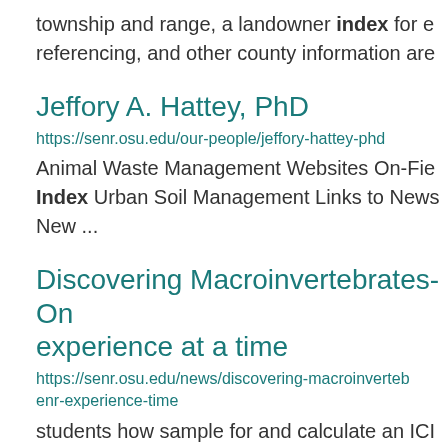township and range, a landowner index for e referencing, and other county information are
Jeffory A. Hattey, PhD
https://senr.osu.edu/our-people/jeffory-hattey-phd
Animal Waste Management Websites On-Fie Index Urban Soil Management Links to News New ...
Discovering Macroinvertebrates- On experience at a time
https://senr.osu.edu/news/discovering-macroinverteb enr-experience-time
students how sample for and calculate an ICI Invertebrate Community Index. This is an ind